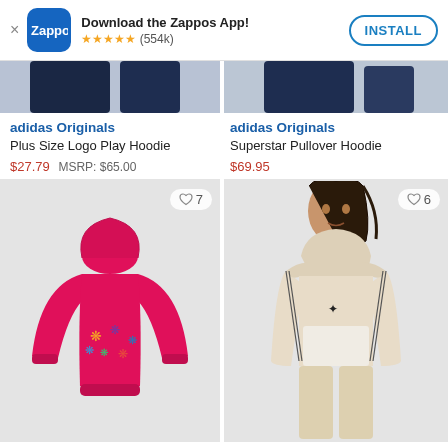[Figure (screenshot): Zappos app install banner with logo, 5-star rating (554k), and INSTALL button]
[Figure (photo): Partial top view of two adidas Originals hoodies, navy colored, cropped at top]
adidas Originals
Plus Size Logo Play Hoodie
$27.79  MSRP: $65.00
adidas Originals
Superstar Pullover Hoodie
$69.95
[Figure (photo): Pink adidas Originals hoodie with colorful trefoil logos pattern on grey background, heart/like button showing 7]
[Figure (photo): Cream/beige adidas Originals Superstar Pullover Hoodie worn by male model on grey background, heart/like button showing 6]